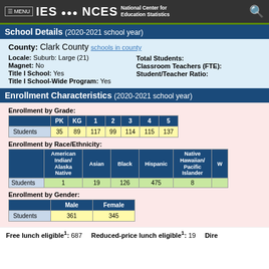IES NCES National Center for Education Statistics
School Details (2020-2021 school year)
County: Clark County schools in county
Locale: Suburb: Large (21)
Magnet: No
Title I School: Yes
Title I School-Wide Program: Yes
Total Students:
Classroom Teachers (FTE):
Student/Teacher Ratio:
Enrollment Characteristics (2020-2021 school year)
Enrollment by Grade:
|  | PK | KG | 1 | 2 | 3 | 4 | 5 |
| --- | --- | --- | --- | --- | --- | --- | --- |
| Students | 35 | 89 | 117 | 99 | 114 | 115 | 137 |
Enrollment by Race/Ethnicity:
|  | American Indian/ Alaska Native | Asian | Black | Hispanic | Native Hawaiian/ Pacific Islander | W |
| --- | --- | --- | --- | --- | --- | --- |
| Students | 1 | 19 | 126 | 475 | 8 |  |
Enrollment by Gender:
|  | Male | Female |
| --- | --- | --- |
| Students | 361 | 345 |
Free lunch eligible¹: 687    Reduced-price lunch eligible¹: 19    Dire